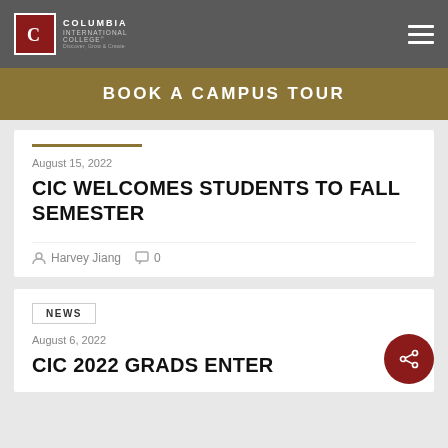Columbia International College — Navigation bar with logo and hamburger menu
BOOK A CAMPUS TOUR
August 15, 2022
CIC WELCOMES STUDENTS TO FALL SEMESTER
Harvey Jiang  0
NEWS
August 6, 2022
CIC 2022 GRADS ENTER